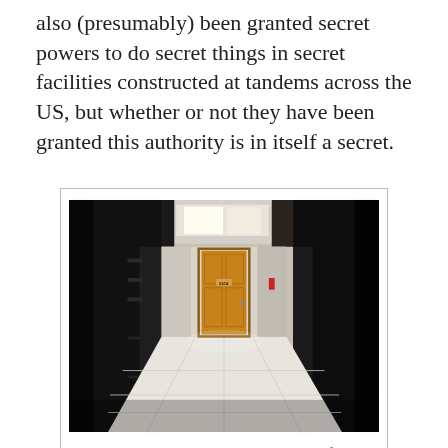also (presumably) been granted secret powers to do secret things in secret facilities constructed at tandems across the US, but whether or not they have been granted this authority is in itself a secret.
[Figure (photo): Interior photograph of a server room corridor showing a wooden door labeled 641A, with server racks on left and right, white tile floor, and ceiling lights. This is Room 641A at AT&T's San Francisco tandem, widely believed to be a NSA facility.]
Room 641A, widely believed to be a NSA facility at AT&T's San Francisco tandem